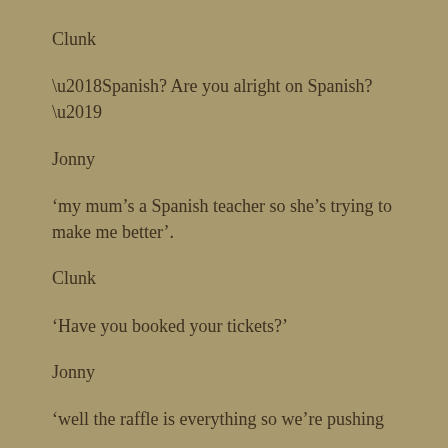Clunk
‘Spanish? Are you alright on Spanish?’
Jonny
‘my mum’s a Spanish teacher so she’s trying to make me better’.
Clunk
‘Have you booked your tickets?’
Jonny
‘well the raffle is everything so we’re pushing